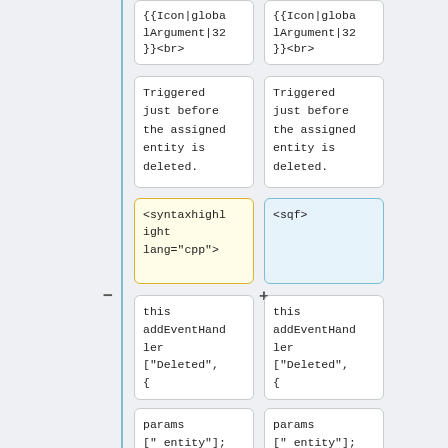{{Icon|globalArgument|32}}<br>
{{Icon|globalArgument|32}}<br>
Triggered just before the assigned entity is deleted.
Triggered just before the assigned entity is deleted.
<syntaxhighlight lang="cpp">
<sqf>
this addEventHandler ["Deleted", {
this addEventHandler ["Deleted", {
params [" entity"];
params [" entity"];